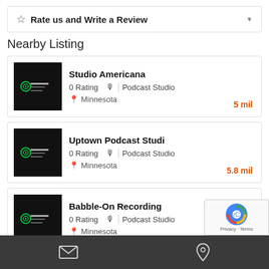Rate us and Write a Review
Nearby Listing
Studio Americana | 0 Rating | Podcast Studio | Minnesota | 5 mil
Uptown Podcast Studi | 0 Rating | Podcast Studio | Minnesota | 5.8 mil
Babble-On Recording | 0 Rating | Podcast Studio | Minnesota | 8.7 mil
Fool Proof LLC
Email | Location